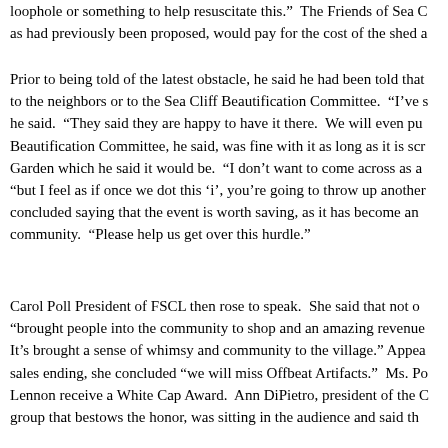loophole or something to help resuscitate this.”  The Friends of Sea C as had previously been proposed, would pay for the cost of the shed a
Prior to being told of the latest obstacle, he said he had been told that to the neighbors or to the Sea Cliff Beautification Committee.  “I’ve s he said.  “They said they are happy to have it there.  We will even pu Beautification Committee, he said, was fine with it as long as it is scr Garden which he said it would be.  “I don’t want to come across as a “but I feel as if once we dot this ‘i’, you’re going to throw up another concluded saying that the event is worth saving, as it has become an community.  “Please help us get over this hurdle.”
Carol Poll President of FSCL then rose to speak.  She said that not o “brought people into the community to shop and an amazing revenue It’s brought a sense of whimsy and community to the village.” Appea sales ending, she concluded “we will miss Offbeat Artifacts.”  Ms. Po Lennon receive a White Cap Award.  Ann DiPietro, president of the C group that bestows the honor, was sitting in the audience and said th